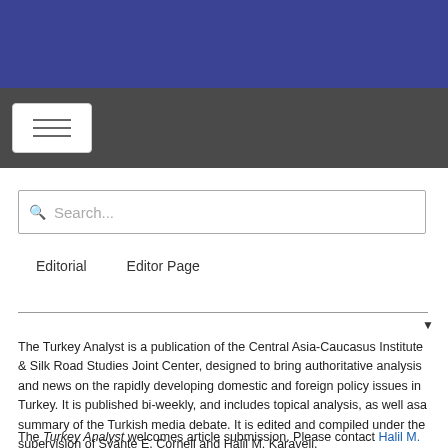[Figure (other): Blue header banner at top of page]
[Figure (other): Dark grey navigation bar with hamburger menu button]
[Figure (other): Search input box with magnifying glass icon and placeholder text 'Search...']
Editorial    Editor Page
The Turkey Analyst is a publication of the Central Asia-Caucasus Institute & Silk Road Studies Joint Center, designed to bring authoritative analysis and news on the rapidly developing domestic and foreign policy issues in Turkey. It is published bi-weekly, and includes topical analysis, as well asa summary of the Turkish media debate. It is edited and compiled under the supervision of Svante E. Cornell and Halil M. Karaveli.
The Turkey Analyst welcomes article submission. Please contact Halil M.